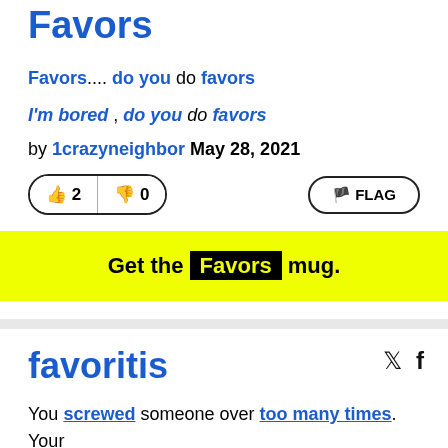Favors
Favors.... do you do favors
I'm bored , do you do favors
by 1crazyneighbor May 28, 2021
👍 2  👎 0  FLAG
Get the Favors mug.
favoritis
You screwed someone over too many times. Your